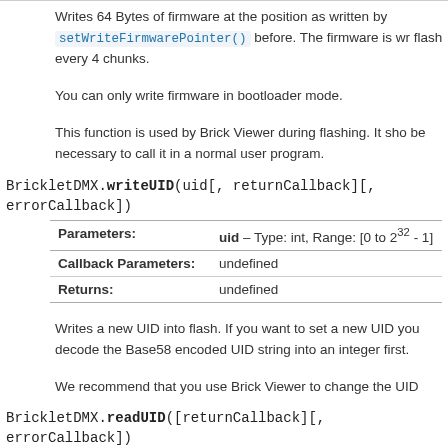Writes 64 Bytes of firmware at the position as written by setWriteFirmwarePointer() before. The firmware is wr flash every 4 chunks.
You can only write firmware in bootloader mode.
This function is used by Brick Viewer during flashing. It sho be necessary to call it in a normal user program.
BrickletDMX.writeUID(uid[, returnCallback][, errorCallback])
| Parameters: | uid – Type: int, Range: [0 to 2^32 - 1] |
| --- | --- |
| Callback Parameters: | undefined |
| Returns: | undefined |
Writes a new UID into flash. If you want to set a new UID you decode the Base58 encoded UID string into an integer first.
We recommend that you use Brick Viewer to change the UID
BrickletDMX.readUID([returnCallback][, errorCallback])